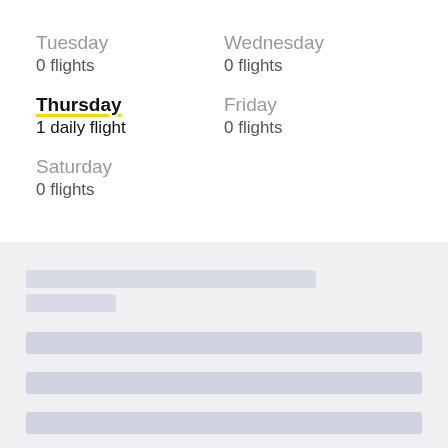Tuesday
0 flights
Wednesday
0 flights
Thursday
1 daily flight
Friday
0 flights
Saturday
0 flights
[Figure (other): Loading skeleton placeholder with gray rounded rectangle bars on light gray background, indicating content loading state]